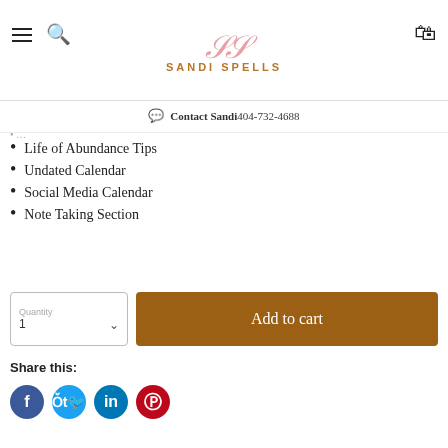SANDI SPELLS
Contact Sandi 404-732-4688
Life of Abundance Tips
Undated Calendar
Social Media Calendar
Note Taking Section
Quantity 1
Add to cart
Share this:
[Figure (other): Social share icons: Facebook, Twitter, LinkedIn, Pinterest]